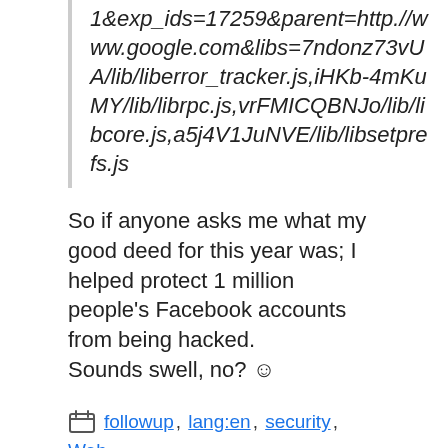1&exp_ids=17259&parent=http.//www.google.com&libs=7ndonz73vUA/lib/liberror_tracker.js,iHKb-4mKuMY/lib/librpc.js,vrFMICQBNJo/lib/libcore.js,a5j4V1JuNVE/lib/libsetprefs.js
So if anyone asks me what my good deed for this year was; I helped protect 1 million people's Facebook accounts from being hacked.
Sounds swell, no? ☺
followup, lang:en, security, Web development